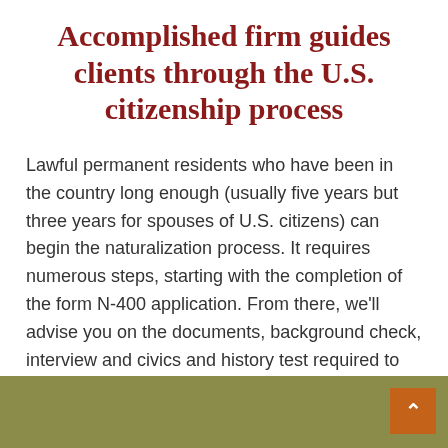Accomplished firm guides clients through the U.S. citizenship process
Lawful permanent residents who have been in the country long enough (usually five years but three years for spouses of U.S. citizens) can begin the naturalization process. It requires numerous steps, starting with the completion of the form N-400 application. From there, we'll advise you on the documents, background check, interview and civics and history test required to achieve U.S. citizenship.